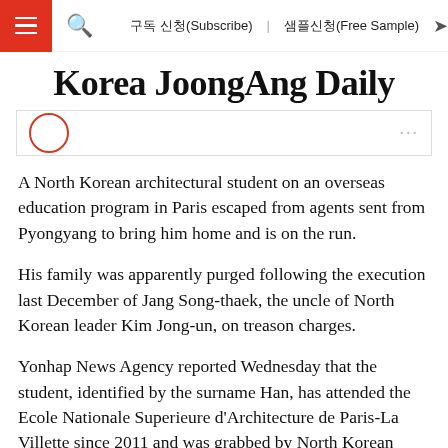구독 신청(Subscribe)   샘플신청(Free Sample)
Korea JoongAng Daily
A North Korean architectural student on an overseas education program in Paris escaped from agents sent from Pyongyang to bring him home and is on the run.
His family was apparently purged following the execution last December of Jang Song-thaek, the uncle of North Korean leader Kim Jong-un, on treason charges.
Yonhap News Agency reported Wednesday that the student, identified by the surname Han, has attended the Ecole Nationale Superieure d'Architecture de Paris-La Villette since 2011 and was grabbed by North Korean agents on an unknown date at an unknown location.